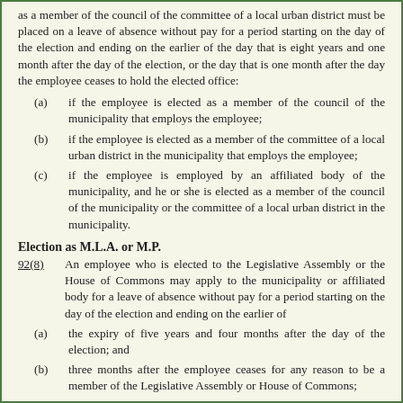as a member of the council of the committee of a local urban district must be placed on a leave of absence without pay for a period starting on the day of the election and ending on the earlier of the day that is eight years and one month after the day of the election, or the day that is one month after the day the employee ceases to hold the elected office:
(a) if the employee is elected as a member of the council of the municipality that employs the employee;
(b) if the employee is elected as a member of the committee of a local urban district in the municipality that employs the employee;
(c) if the employee is employed by an affiliated body of the municipality, and he or she is elected as a member of the council of the municipality or the committee of a local urban district in the municipality.
Election as M.L.A. or M.P.
92(8)     An employee who is elected to the Legislative Assembly or the House of Commons may apply to the municipality or affiliated body for a leave of absence without pay for a period starting on the day of the election and ending on the earlier of
(a) the expiry of five years and four months after the day of the election; and
(b) three months after the employee ceases for any reason to be a member of the Legislative Assembly or House of Commons;
and every such application must be granted.